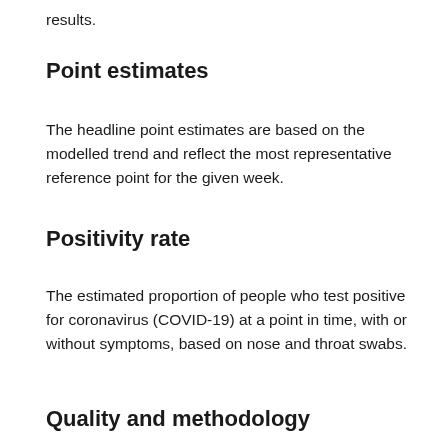results.
Point estimates
The headline point estimates are based on the modelled trend and reflect the most representative reference point for the given week.
Positivity rate
The estimated proportion of people who test positive for coronavirus (COVID-19) at a point in time, with or without symptoms, based on nose and throat swabs.
Quality and methodology